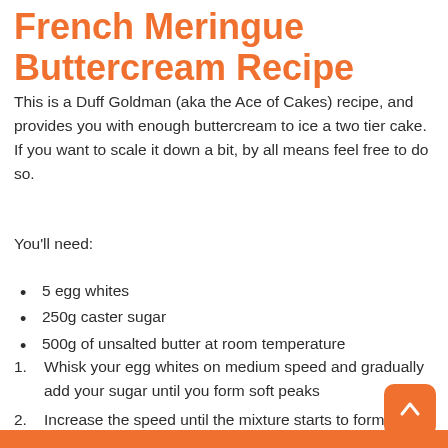French Meringue Buttercream Recipe
This is a Duff Goldman (aka the Ace of Cakes) recipe, and provides you with enough buttercream to ice a two tier cake. If you want to scale it down a bit, by all means feel free to do so.
You'll need:
5 egg whites
250g caster sugar
500g of unsalted butter at room temperature
1. Whisk your egg whites on medium speed and gradually add your sugar until you form soft peaks
2. Increase the speed until the mixture starts to form stiff, glossy peaks
3. Switch your mixer back to medium speed, and gradually add your butter a little bit at a time. Wh...